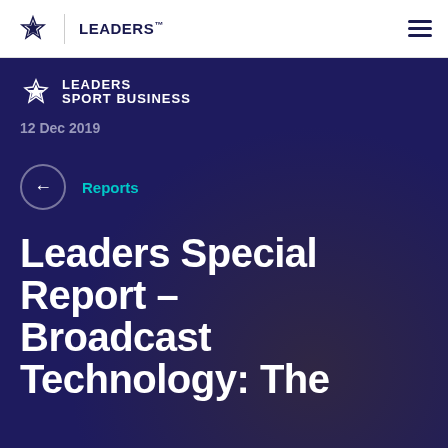LEADERS™
[Figure (logo): Leaders Sport Business logo with star icon and LEADERS SPORT BUSINESS text, date 12 Dec 2019]
12 Dec 2019
← Reports
Leaders Special Report – Broadcast Technology: The